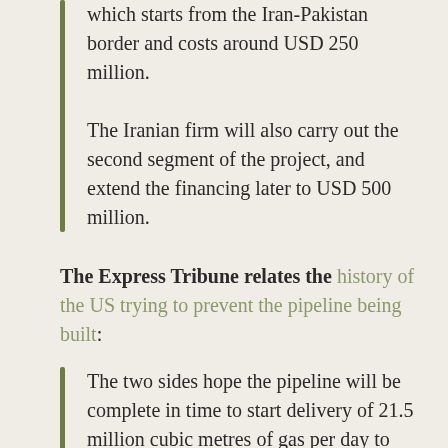which starts from the Iran-Pakistan border and costs around USD 250 million.
The Iranian firm will also carry out the second segment of the project, and extend the financing later to USD 500 million.
The Express Tribune relates the history of the US trying to prevent the pipeline being built:
The two sides hope the pipeline will be complete in time to start delivery of 21.5 million cubic metres of gas per day to Pakistan by December 2014.
The US has since also seen it tried...